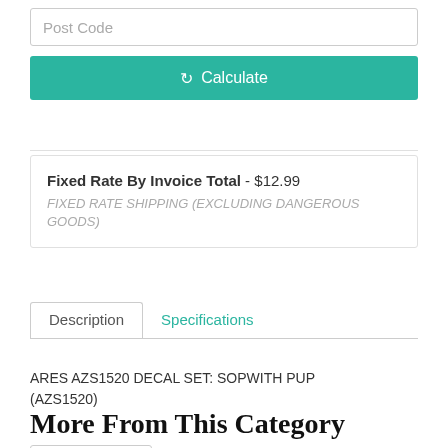Post Code
Calculate
Fixed Rate By Invoice Total - $12.99
FIXED RATE SHIPPING (EXCLUDING DANGEROUS GOODS)
Description	Specifications
ARES AZS1520 DECAL SET: SOPWITH PUP
(AZS1520)
More From This Category